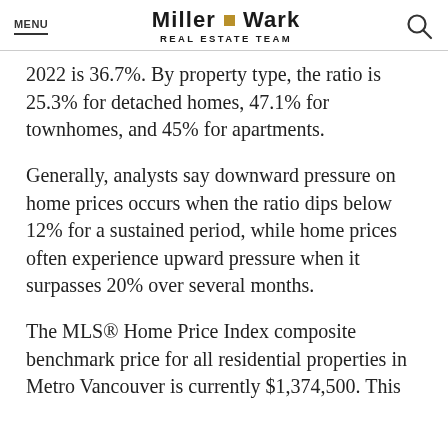MENU | MILLER WARK REAL ESTATE TEAM
2022 is 36.7%. By property type, the ratio is 25.3% for detached homes, 47.1% for townhomes, and 45% for apartments.
Generally, analysts say downward pressure on home prices occurs when the ratio dips below 12% for a sustained period, while home prices often experience upward pressure when it surpasses 20% over several months.
The MLS® Home Price Index composite benchmark price for all residential properties in Metro Vancouver is currently $1,374,500. This